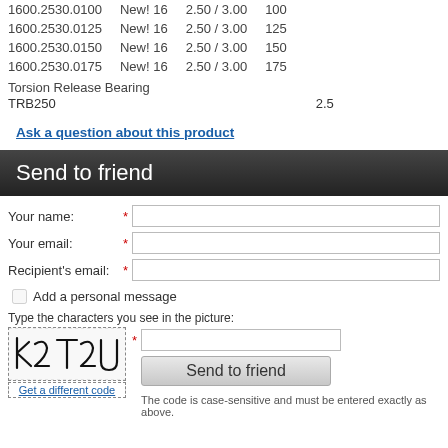| 1600.2530.0100 | New! 16 | 2.50 / 3.00 | 100 |
| 1600.2530.0125 | New! 16 | 2.50 / 3.00 | 125 |
| 1600.2530.0150 | New! 16 | 2.50 / 3.00 | 150 |
| 1600.2530.0175 | New! 16 | 2.50 / 3.00 | 175 |
Torsion Release Bearing
TRB250    2.5
Ask a question about this product
Send to friend
Your name:
Your email:
Recipient's email:
Add a personal message
Type the characters you see in the picture:
[Figure (other): CAPTCHA image showing handwritten characters: k 2 T 2 U]
Get a different code
The code is case-sensitive and must be entered exactly as above.